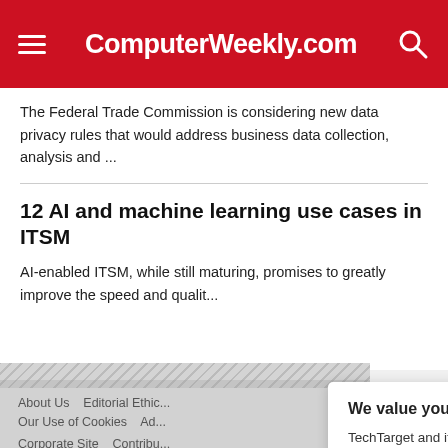ComputerWeekly.com
The Federal Trade Commission is considering new data privacy rules that would address business data collection, analysis and ...
12 AI and machine learning use cases in ITSM
AI-enabled ITSM, while still maturing, promises to greatly improve the speed and quali...
About Us   Editorial Ethic...
Our Use of Cookies   Ad...
Corporate Site   Contributi...
In Depth   Guides
Opinions   Quizzes   Ph...
Computer Weekly Topics
We value your privacy.
TechTarget and its partners employ cookies to improve your experience on our site, to analyze traffic and performance, and to serve personalized content and advertising that are relevant to your professional interests. You can manage your settings at any time. Please view our Privacy Policy for more information